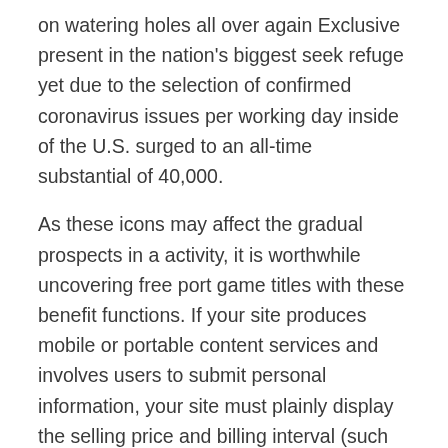on watering holes all over again Exclusive present in the nation's biggest seek refuge yet due to the selection of confirmed coronavirus issues per working day inside of the U.S. surged to an all-time substantial of 40,000.
As these icons may affect the gradual prospects in a activity, it is worthwhile uncovering free port game titles with these benefit functions. If your site produces mobile or portable content services and involves users to submit personal information, your site must plainly display the selling price and billing interval (such as per week or once per thirty days) on the web site where users initially key in personal information (such as a name or phone number). For instance, you will get to find out that the corporation from the selection of an individual is reputable, the consumer attention provider of a specific mobile phone interest...